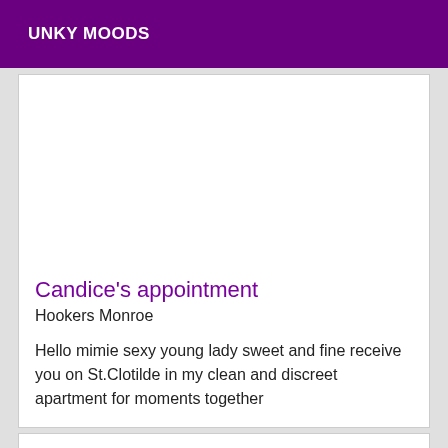UNKY MOODS
[Figure (photo): White empty image area (photo placeholder)]
Candice's appointment
Hookers Monroe
Hello mimie sexy young lady sweet and fine receive you on St.Clotilde in my clean and discreet apartment for moments together
Verified